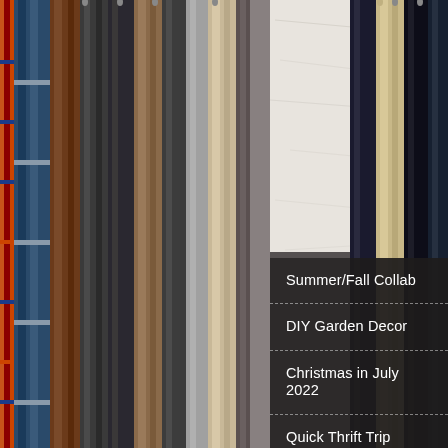[Figure (photo): Background photo of a clothing rack with various garments hanging densely — colorful plaid fabrics, brown/tan pants, dark jeans on left side, and beige/dark pants on right side, with a light marble/concrete panel visible in the center background]
Summer/Fall Collab
DIY Garden Decor
Christmas in July 2022
Quick Thrift Trip